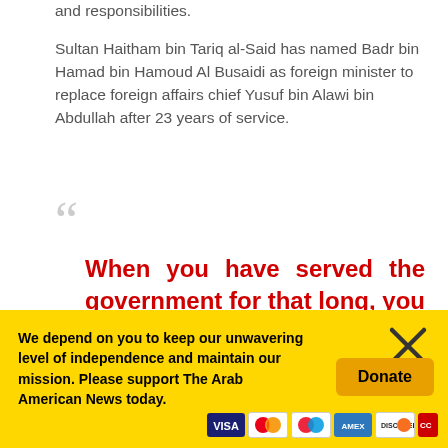and responsibilities.
Sultan Haitham bin Tariq al-Said has named Badr bin Hamad bin Hamoud Al Busaidi as foreign minister to replace foreign affairs chief Yusuf bin Alawi bin Abdullah after 23 years of service.
When you have served the government for that long, you have nothing more to give. – Hashar Al Hadeedi, PhD scholar
We depend on you to keep our unwavering level of independence and maintain our mission. Please support The Arab American News today.